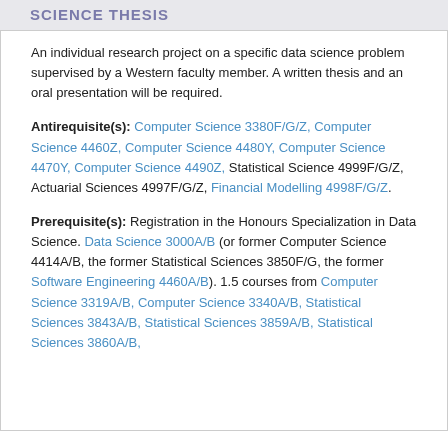SCIENCE THESIS
An individual research project on a specific data science problem supervised by a Western faculty member. A written thesis and an oral presentation will be required.
Antirequisite(s): Computer Science 3380F/G/Z, Computer Science 4460Z, Computer Science 4480Y, Computer Science 4470Y, Computer Science 4490Z, Statistical Science 4999F/G/Z, Actuarial Sciences 4997F/G/Z, Financial Modelling 4998F/G/Z.
Prerequisite(s): Registration in the Honours Specialization in Data Science. Data Science 3000A/B (or former Computer Science 4414A/B, the former Statistical Sciences 3850F/G, the former Software Engineering 4460A/B). 1.5 courses from Computer Science 3319A/B, Computer Science 3340A/B, Statistical Sciences 3843A/B, Statistical Sciences 3859A/B, Statistical Sciences 3860A/B,